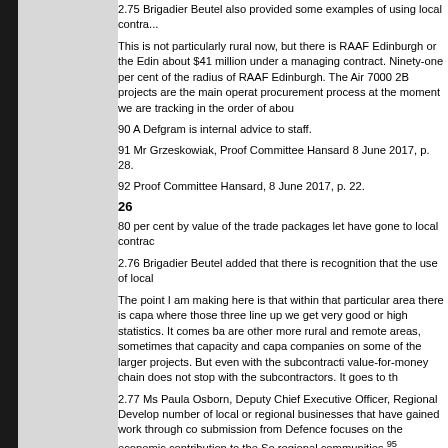2.75 Brigadier Beutel also provided some examples of using local contra...
This is not particularly rural now, but there is RAAF Edinburgh or the Edin... about $41 million under a managing contract. Ninety-one per cent of the ... radius of RAAF Edinburgh. The Air 7000 2B projects are the main operat... procurement process at the moment we are tracking in the order of abou...
90 A Defgram is internal advice to staff.
91 Mr Grzeskowiak, Proof Committee Hansard 8 June 2017, p. 28.
92 Proof Committee Hansard, 8 June 2017, p. 22.
26
80 per cent by value of the trade packages let have gone to local contrac...
2.76 Brigadier Beutel added that there is recognition that the use of local...
The point I am making here is that within that particular area there is capa... where those three line up we get very good or high statistics. It comes ba... are other more rural and remote areas, sometimes that capacity and capa... companies on some of the larger projects. But even with the subcontracti... value-for-money chain does not stop with the subcontractors. It goes to th...
2.77 Ms Paula Osborn, Deputy Chief Executive Officer, Regional Develop... number of local or regional businesses that have gained work through co... submission from Defence focuses on the economic contribution to the So... regional communities.95
Commonwealth procurement rules 2.78 Defence confirmed that it must fo... do not allow preferential treatment of a supplier because they are local.97
All potential suppliers to government must, subject to these CPRs, be tre... discriminated against due to their size, degree of foreign affiliation or own...
2.79 An update to the CPRs commenced on 1 March 2017. A key additio...